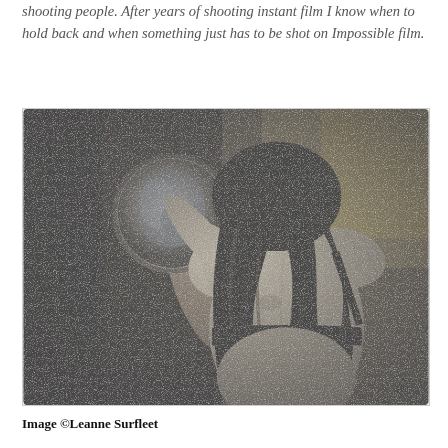shooting people. After years of shooting instant film I know when to hold back and when something just has to be shot on Impossible film.
[Figure (photo): Black and white instant film photograph showing a woman from behind, wearing a dark bra/bikini top with thin straps, holding a round mirror up with her left hand. Her long hair falls down her back. The image has the characteristic high-contrast, slightly foggy quality of Impossible instant film.]
Image ©Leanne Surfleet